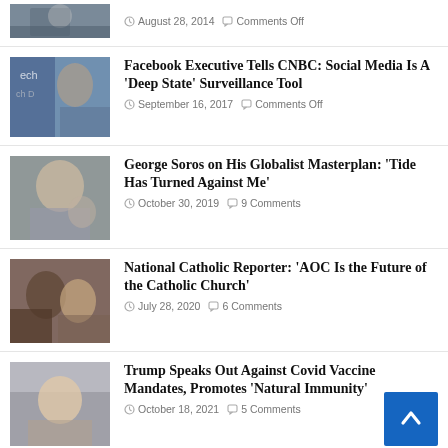[Figure (photo): Partial thumbnail of a person at podium, cropped at top]
August 28, 2014   Comments Off
[Figure (photo): Man at tech conference (TechCrunch style) with name badge]
Facebook Executive Tells CNBC: Social Media Is A ‘Deep State’ Surveillance Tool
September 16, 2017   Comments Off
[Figure (photo): George Soros headshot]
George Soros on His Globalist Masterplan: ‘Tide Has Turned Against Me’
October 30, 2019   9 Comments
[Figure (photo): Two women smiling, one in hijab]
National Catholic Reporter: ‘AOC Is the Future of the Catholic Church’
July 28, 2020   6 Comments
[Figure (photo): Trump speaking outdoors]
Trump Speaks Out Against Covid Vaccine Mandates, Promotes ‘Natural Immunity’
October 18, 2021   5 Comments